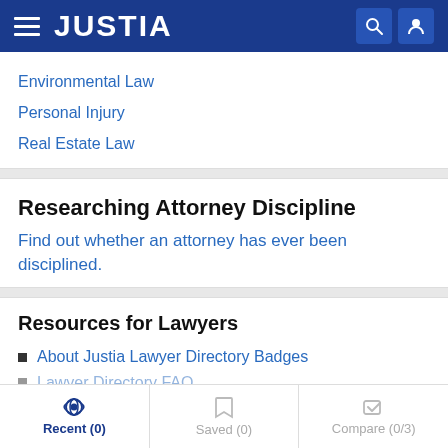JUSTIA
Environmental Law
Personal Injury
Real Estate Law
Researching Attorney Discipline
Find out whether an attorney has ever been disciplined.
Resources for Lawyers
About Justia Lawyer Directory Badges
Recent (0)  Saved (0)  Compare (0/3)